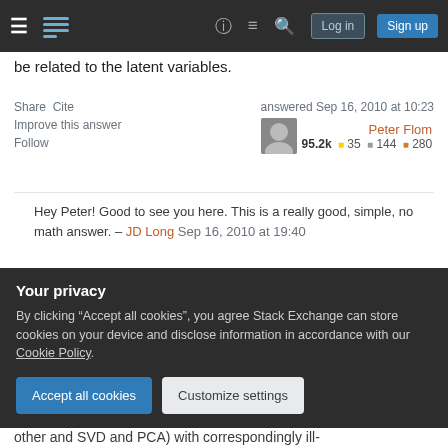Stack Exchange navigation bar with hamburger menu, logo, help, chat, search icons, Log in and Sign up buttons
be related to the latent variables.
Share   Cite
Improve this answer
Follow
answered Sep 16, 2010 at 10:23
Peter Flom
95.2k  35  144  280
Hey Peter! Good to see you here. This is a really good, simple, no math answer. – JD Long Sep 16, 2010 at 19:40
+1 for mentioning FA, which no one else seems to discuss, and which some people's explanations seem to blend towards... gung – Reinstate Monica Jan 21
Your privacy
By clicking "Accept all cookies", you agree Stack Exchange can store cookies on your device and disclose information in accordance with our Cookie Policy.
Accept all cookies    Customize settings
other and SVD and PCA) with correspondingly ill-